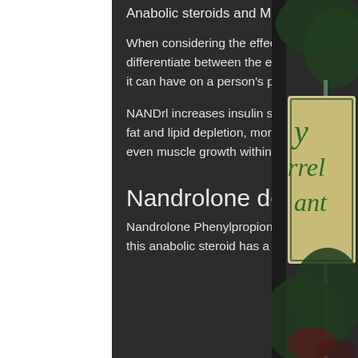Anabolic steroids and Muscle gains?
When considering the effects of Nandrolone on the body, it is important to differentiate between the effects that NANDrl has on the body and the effects that it can have on a person's performance, nandro phenylpropionate.
NANDrl increases insulin sensitivity in the body, leading to less glycogen, glucose, fat and lipid depletion, more fat metabolism to provide energy for the body, and even muscle growth within the body, where can i get anabolic steroids in australia.
Nandrolone decanoate
Nandrolone Phenylpropionate (NPP) The first thing that you should know is that this anabolic steroid has a lot of the same